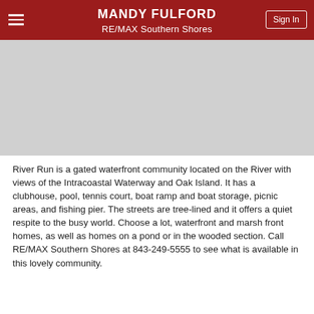MANDY FULFORD RE/MAX Southern Shores Sign In
[Figure (photo): Gray placeholder image area for a community photo]
River Run is a gated waterfront community located on the River with views of the Intracoastal Waterway and Oak Island. It has a clubhouse, pool, tennis court, boat ramp and boat storage, picnic areas, and fishing pier. The streets are tree-lined and it offers a quiet respite to the busy world. Choose a lot, waterfront and marsh front homes, as well as homes on a pond or in the wooded section. Call RE/MAX Southern Shores at 843-249-5555 to see what is available in this lovely community.